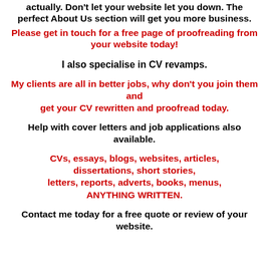actually. Don't let your website let you down. The perfect About Us section will get you more business.
Please get in touch for a free page of proofreading from your website today!
I also specialise in CV revamps.
My clients are all in better jobs, why don't you join them and get your CV rewritten and proofread today.
Help with cover letters and job applications also available.
CVs, essays, blogs, websites, articles, dissertations, short stories, letters, reports, adverts, books, menus, ANYTHING WRITTEN.
Contact me today for a free quote or review of your website.